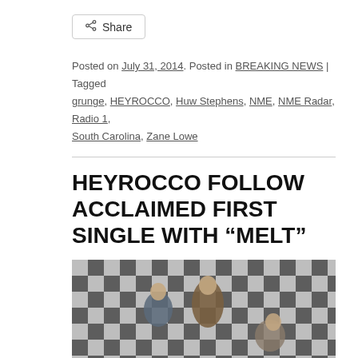Share
Posted on July 31, 2014. Posted in BREAKING NEWS | Tagged grunge, HEYROCCO, Huw Stephens, NME, NME Radar, Radio 1, South Carolina, Zane Lowe
HEYROCCO FOLLOW ACCLAIMED FIRST SINGLE WITH “MELT”
[Figure (photo): Band photo of HEYROCCO — three young musicians standing in front of a black and white checkerboard wall]